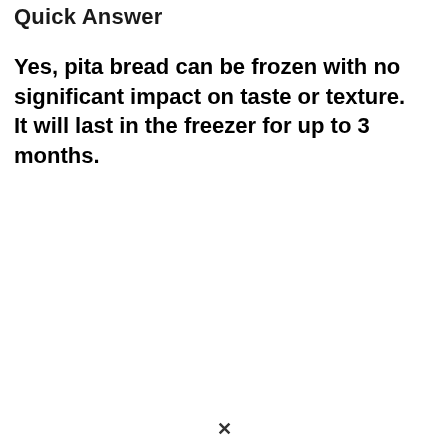Quick Answer
Yes, pita bread can be frozen with no significant impact on taste or texture. It will last in the freezer for up to 3 months.